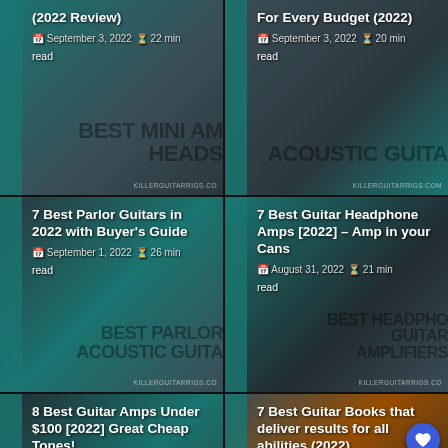[Figure (screenshot): Card: (2022 Review) Best Mini Amp Heads article thumbnail with guitar amp image, dated September 3, 2022, 22 min read]
[Figure (screenshot): Card: For Every Budget (2022) Best Acoustic Guitar article thumbnail, dated September 3, 2022, 20 min read]
[Figure (screenshot): Card: 7 Best Parlor Guitars in 2022 with Buyer's Guide article thumbnail, dated September 1, 2022, 26 min read]
[Figure (screenshot): Card: 7 Best Guitar Headphone Amps [2022] – Amp in your Cans article thumbnail with headphones image, dated August 31, 2022, 21 min read]
[Figure (screenshot): Card: 8 Best Guitar Amps Under $100 [2022] Great Cheap Tones! article thumbnail, dated August 31, 2022, 0 Comments, 20 min read]
[Figure (screenshot): Card: 7 Best Guitar Books that deliver results for all abilities (2022) Guitar Theory article thumbnail, dated August 31, 2022, 20 min read]
[Figure (screenshot): Bottom bar: Smoothies Kiwi restaurant info with Dine-in checkmark, Curbside pickup checkmark, Delivery X, navigation icon, and menu icon]